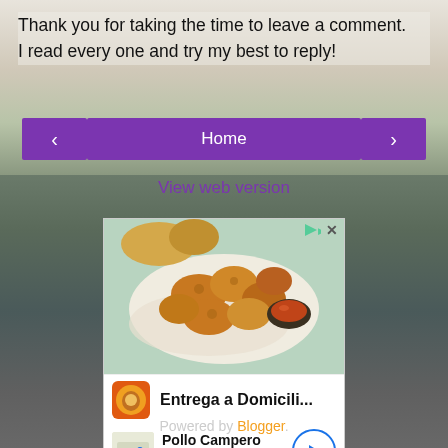Thank you for taking the time to leave a comment.
I read every one and try my best to reply!
[Figure (screenshot): Navigation bar with purple left arrow button, purple Home button, and purple right arrow button]
View web version
[Figure (photo): Advertisement showing fried chicken nuggets with dipping sauce on a plate, with Pollo Campero branding. Text reads: Entrega a Domicili... Pollo Campero Herndon 10AM-10...]
Powered by Blogger.